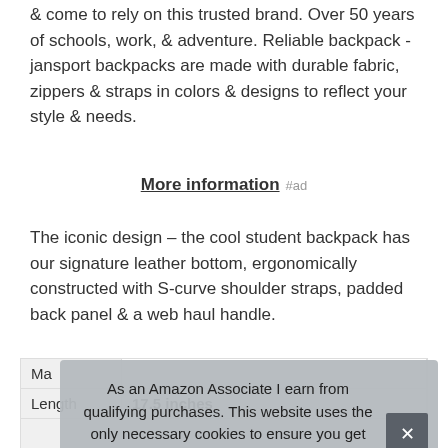& come to rely on this trusted brand. Over 50 years of schools, work, & adventure. Reliable backpack - jansport backpacks are made with durable fabric, zippers & straps in colors & designs to reflect your style & needs.
More information #ad
The iconic design – the cool student backpack has our signature leather bottom, ergonomically constructed with S-curve shoulder straps, padded back panel & a web haul handle.
| Ma |  |
| Length | 17.5 inches |
As an Amazon Associate I earn from qualifying purchases. This website uses the only necessary cookies to ensure you get the best experience on our website. More information